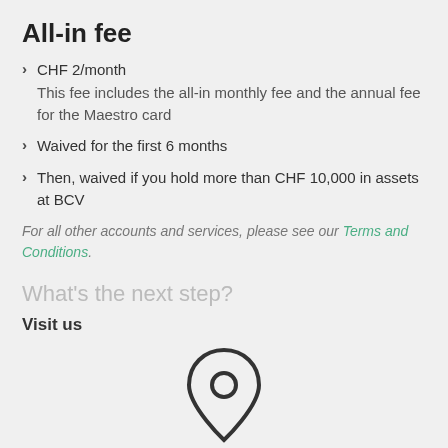All-in fee
CHF 2/month
This fee includes the all-in monthly fee and the annual fee for the Maestro card
Waived for the first 6 months
Then, waived if you hold more than CHF 10,000 in assets at BCV
For all other accounts and services, please see our Terms and Conditions.
What's the next step?
Visit us
[Figure (illustration): Location pin / map marker icon, circular with outline style]